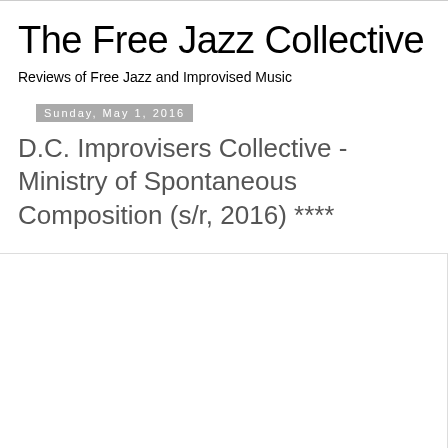The Free Jazz Collective
Reviews of Free Jazz and Improvised Music
Sunday, May 1, 2016
D.C. Improvisers Collective - Ministry of Spontaneous Composition (s/r, 2016) ****
[Figure (photo): Album cover image placeholder, white/light gray rectangle]